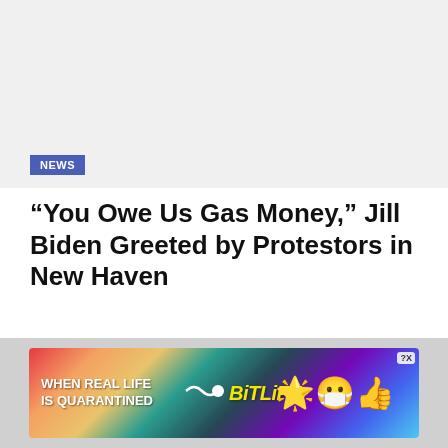[Figure (photo): Top image placeholder area, light gray background with NEWS badge overlay]
“You Owe Us Gas Money,” Jill Biden Greeted by Protestors in New Haven
JULY 22, 2022
[Figure (photo): Article content image placeholder, light gray background]
[Figure (other): Advertisement banner: WHEN REAL LIFE IS QUARANTINED - BitLife app ad with emoji characters]